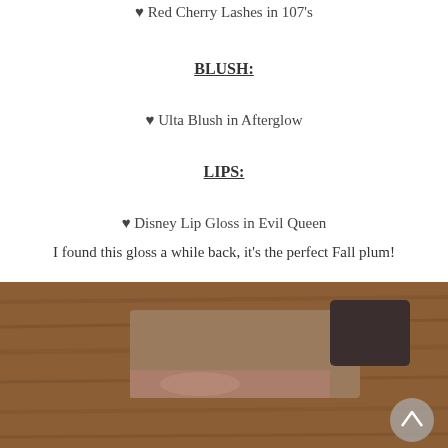♥ Red Cherry Lashes in 107's
BLUSH:
♥ Ulta Blush in Afterglow
LIPS:
♥ Disney Lip Gloss in Evil Queen
I found this gloss a while back, it's the perfect Fall plum!
[Figure (photo): A lip gloss tube with a dark cap lying on a wooden surface, with a scroll-up button visible in the lower right corner.]